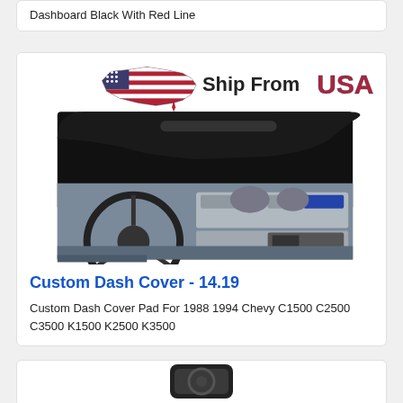Dashboard Black With Red Line
[Figure (photo): Product listing image showing a black custom dash cover pad on top, and a truck interior dashboard photo below, with a 'Ship From USA' banner with American flag graphic at the top of the image area]
Custom Dash Cover - 14.19
Custom Dash Cover Pad For 1988 1994 Chevy C1500 C2500 C3500 K1500 K2500 K3500
[Figure (photo): Partial view of a steering wheel for another product listing below]